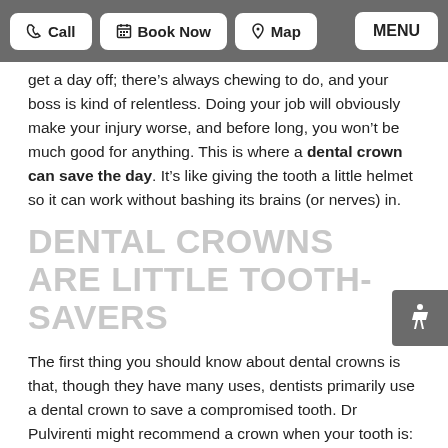Call | Book Now | Map | MENU
get a day off; there’s always chewing to do, and your boss is kind of relentless. Doing your job will obviously make your injury worse, and before long, you won’t be much good for anything. This is where a dental crown can save the day. It’s like giving the tooth a little helmet so it can work without bashing its brains (or nerves) in.
DENTAL CROWNS ARE LITTLE TOOTH-SAVERS
The first thing you should know about dental crowns is that, though they have many uses, dentists primarily use a dental crown to save a compromised tooth. Dr Pulvirenti might recommend a crown when your tooth is:
Broken or fractured
Extensively decayed